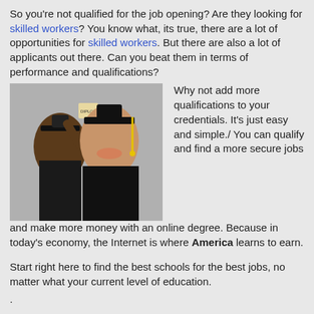So you’re not qualified for the job opening? Are they looking for skilled workers? You know what, its true, there are a lot of opportunities for skilled workers. But there are also a lot of applicants out there. Can you beat them in terms of performance and qualifications?
[Figure (photo): Two graduates in black caps and gowns; one raises a diploma in the background, one smiles in the foreground with a yellow tassel. A bank document with numbers is visible on the left.]
Why not add more qualifications to your credentials. It’s just easy and simple./ You can qualify and find a more secure jobs and make more money with an online degree. Because in today’s economy, the Internet is where America learns to earn.
Start right here to find the best schools for the best jobs, no matter what your current level of education.
.
.